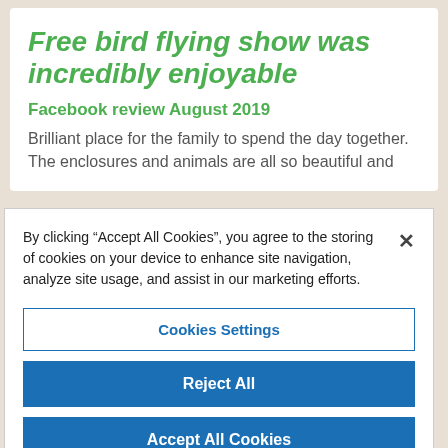Free bird flying show was incredibly enjoyable
Facebook review August 2019
Brilliant place for the family to spend the day together. The enclosures and animals are all so beautiful and
By clicking “Accept All Cookies”, you agree to the storing of cookies on your device to enhance site navigation, analyze site usage, and assist in our marketing efforts.
Cookies Settings
Reject All
Accept All Cookies